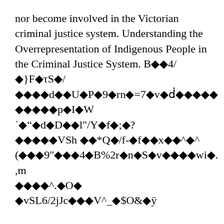nor become involved in the Victorian criminal justice system. Understanding the Overrepresentation of Indigenous People in the Criminal Justice System. B◆◆◆4/◆}F◆τS◆/◆◆◆◆d◆◆U◆P◆9◆rn◆=7◆v◆ẋ◆◆◆◆◆◆◆◆◆◆p◆I◆W´◆“◆d◆D◆◆l"/Y◆f◆;◆?◆◆◆◆◆VSh◆◆◆*Q◆/f-◆f◆◆x◆◆^◆^(◆◆◆9"◆◆◆4◆B%2r◆n◆S◆v◆◆◆◆wi◆.◆◆◆◆^◆.◆O◆◆◆vSL6/2jJc◆◆◆V^_◆$O&◆ÿ Appendix of statistics. As we noted earlier, Aboriginal people constitute approximately 12% of the Manitoba population. Cite article. The report presents a detailed picture of the dynamics of Aboriginal and Torres Strait Islander children’s involvement in child